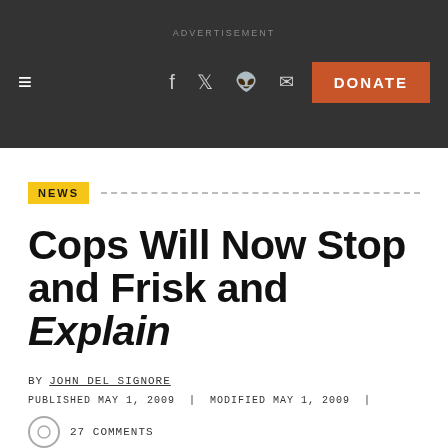ADVERTISEMENT
Cops Will Now Stop and Frisk and Explain
NEWS
BY JOHN DEL SIGNORE
PUBLISHED MAY 1, 2009 | MODIFIED MAY 1, 2009 |
27 COMMENTS